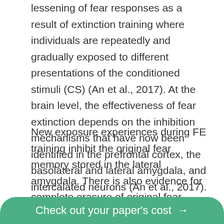lessening of fear responses as a result of extinction training where individuals are repeatedly and gradually exposed to different presentations of the conditioned stimuli (CS) (An et al., 2017). At the brain level, the effectiveness of fear extinction depends on the inhibition mechanisms that have now been identified in the prefrontal cortex, the basolateral and lateral amygdala, and intercalated neurons (An et al., 2017).
New exposure experiences during FE training inhibit the original fear memory stored in the lateral amygdala. There is also evidence for complete erasure of original fear memories during FE. Regardless of which version is true, behavior modification should be based on habituation or decreasing amygdala activity through constant
Check out your paper's cost →